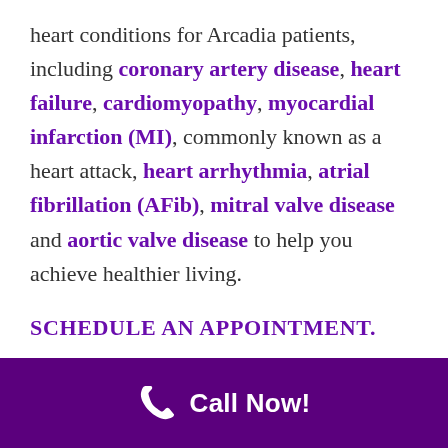heart conditions for Arcadia patients, including coronary artery disease, heart failure, cardiomyopathy, myocardial infarction (MI), commonly known as a heart attack, heart arrhythmia, atrial fibrillation (AFib), mitral valve disease and aortic valve disease to help you achieve healthier living.
SCHEDULE AN APPOINTMENT.
Call Now!